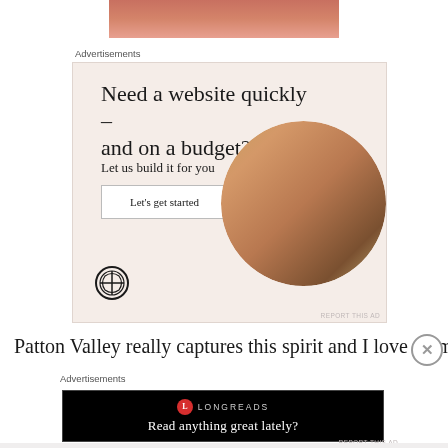[Figure (photo): Partial photo of a person, showing skin tones in warm reddish-brown hues at the top of the page]
Advertisements
[Figure (illustration): WordPress advertisement with warm beige background. Headline: 'Need a website quickly – and on a budget?' Subtext: 'Let us build it for you'. Button: 'Let's get started'. WordPress logo at bottom left. Circular photo of person typing on laptop at right.]
Patton Valley really captures this spirit and I love them for
Advertisements
[Figure (illustration): Longreads advertisement on black background. Shows Longreads logo and tagline: 'Read anything great lately?']